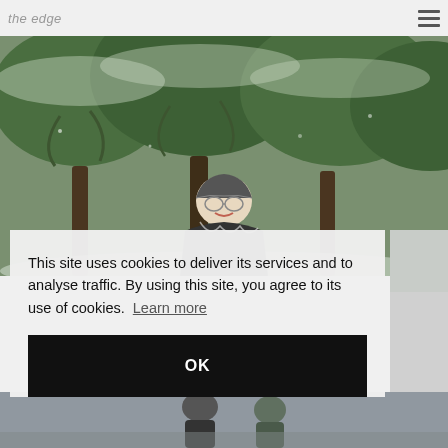the edge
[Figure (photo): Person wearing houndstooth cap and sweater standing in front of snow-dusted evergreen trees]
This site uses cookies to deliver its services and to analyse traffic. By using this site, you agree to its use of cookies.  Learn more
OK
[Figure (photo): Partial photo on right side, appears to show winter/snow scene]
[Figure (photo): Partial photo at bottom of page, appears to show people in winter clothing]